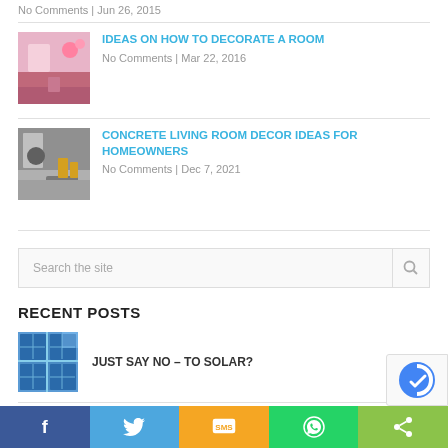No Comments | Jun 26, 2015
IDEAS ON HOW TO DECORATE A ROOM
No Comments | Mar 22, 2016
[Figure (photo): Pink decorated room thumbnail]
CONCRETE LIVING ROOM DECOR IDEAS FOR HOMEOWNERS
No Comments | Dec 7, 2021
[Figure (photo): Concrete living room thumbnail]
Search the site
RECENT POSTS
JUST SAY NO – TO SOLAR?
[Figure (photo): Solar panels thumbnail]